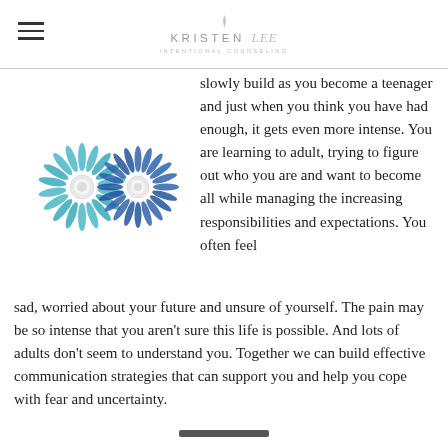KRISTEN [logo] INTENTIONAL COUNSELING
[Figure (illustration): Two overlapping decorative sunburst/flower-like circular designs in teal and blue tones]
slowly build as you become a teenager and just when you think you have had enough, it gets even more intense. You are learning to adult, trying to figure out who you are and want to become all while managing the increasing responsibilities and expectations. You often feel sad, worried about your future and unsure of yourself. The pain may be so intense that you aren't sure this life is possible. And lots of adults don't seem to understand you. Together we can build effective communication strategies that can support you and help you cope with fear and uncertainty.